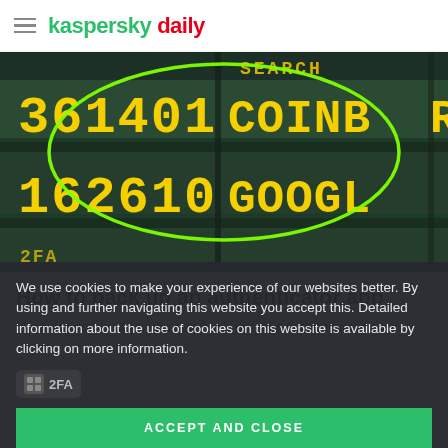kaspersky daily
[Figure (photo): Scoreboard display showing yellow digital numbers 361401 and 162610 with text SEARCH, COINBASE, GOOGLE partially visible. A green oval circle is drawn overlaying the numbers.]
How to back up an authenticator app
Here are some ways you can back up your authenticator app.
We use cookies to make your experience of our websites better. By using and further navigating this website you accept this. Detailed information about the use of cookies on this website is available by clicking on more information.
ACCEPT AND CLOSE